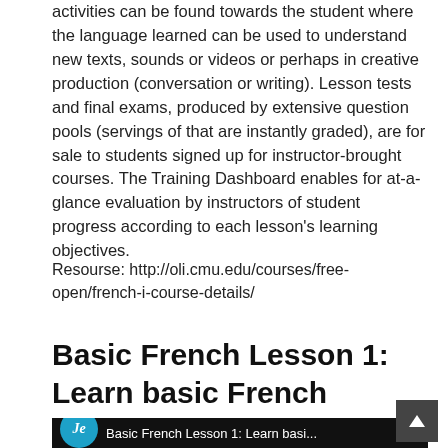activities can be found towards the student where the language learned can be used to understand new texts, sounds or videos or perhaps in creative production (conversation or writing). Lesson tests and final exams, produced by extensive question pools (servings of that are instantly graded), are for sale to students signed up for instructor-brought courses. The Training Dashboard enables for at-a-glance evaluation by instructors of student progress according to each lesson's learning objectives.
Resourse: http://oli.cmu.edu/courses/free-open/french-i-course-details/
Basic French Lesson 1: Learn basic French
[Figure (screenshot): Video thumbnail showing 'Basic French Lesson 1: Learn basi...' with a teal circular logo with 'Je' text, dark background, and three-dot menu icon.]